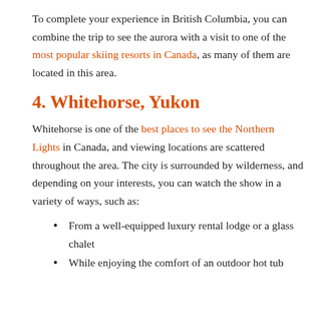To complete your experience in British Columbia, you can combine the trip to see the aurora with a visit to one of the most popular skiing resorts in Canada, as many of them are located in this area.
4. Whitehorse, Yukon
Whitehorse is one of the best places to see the Northern Lights in Canada, and viewing locations are scattered throughout the area. The city is surrounded by wilderness, and depending on your interests, you can watch the show in a variety of ways, such as:
From a well-equipped luxury rental lodge or a glass chalet
While enjoying the comfort of an outdoor hot tub